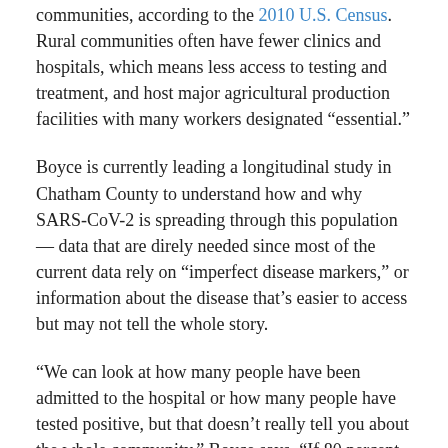communities, according to the 2010 U.S. Census. Rural communities often have fewer clinics and hospitals, which means less access to testing and treatment, and host major agricultural production facilities with many workers designated “essential.”
Boyce is currently leading a longitudinal study in Chatham County to understand how and why SARS-CoV-2 is spreading through this population — data that are direly needed since most of the current data rely on “imperfect disease markers,” or information about the disease that’s easier to access but may not tell the whole story.
“We can look at how many people have been admitted to the hospital or how many people have tested positive, but that doesn’t really tell you about the whole community,” Boyce says. “If 80 percent of people don’t have symptoms or only mild symptoms that don’t prompt a hospital visit, then we really don’t know how many people out there have been infected.”
Boyce and his team are randomly selecting households to participate in this study. At their first clinic visit, volunteers give blood and undergo a nasal swab. For the next four weeks, they record symptoms and then go back to the clinic for the same procedures. They will repeat this each month for one year.